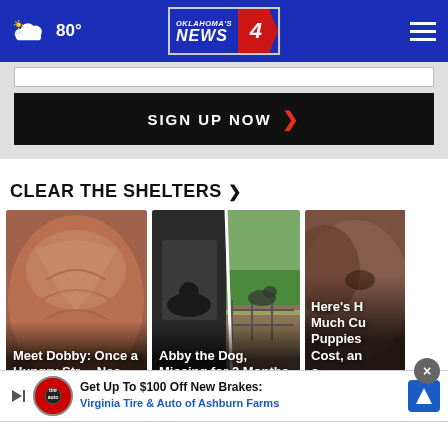80° — Oklahoma's News 4
[Figure (screenshot): Sign up input field and SIGN UP NOW button on gray background]
CLEAR THE SHELTERS ›
[Figure (photo): Close-up of a dog's wrinkled face - Meet Dobby: Once a Hungry Stray in Need]
[Figure (photo): Split photo of dog indoors and green pasture - Abby the Dog, Missing for 2 Months,]
[Figure (photo): Close-up of brown dog - Here's How Much Cute Puppies Cost, and ...]
[Figure (infographic): Advertisement: Get Up To $100 Off New Brakes - Virginia Tire & Auto of Ashburn Farms]
Clear The Shelters
Clear The Shelters
Clear Th...